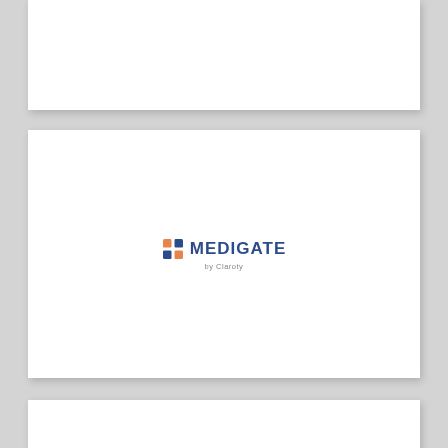[Figure (logo): Medigate by Claroty logo — a square icon with orange and blue diamond/cross pattern followed by MEDIGATE text in dark blue bold, and 'by Claroty' in small grey text below]